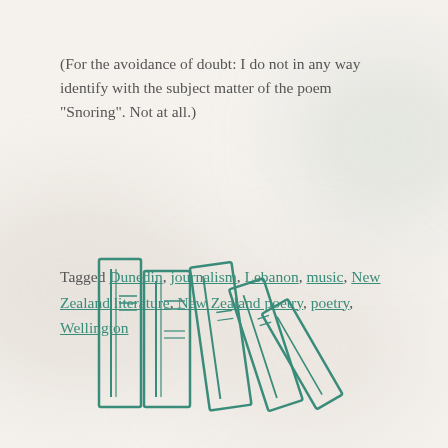(For the avoidance of doubt: I do not in any way identify with the subject matter of the poem “Snoring”. Not at all.)
Tagged Dunedin, journalism, Lebanon, music, New Zealand literature, New Zealand poetry, poetry, Wellington
[Figure (illustration): Line drawing of several books standing upright and leaning, drawn in teal/green outline style]